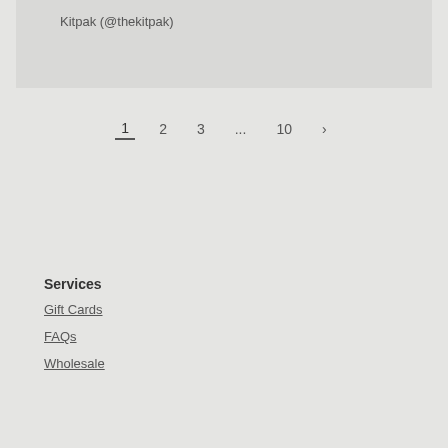Kitpak (@thekitpak)
1  2  3  ...  10  >
Services
Gift Cards
FAQs
Wholesale